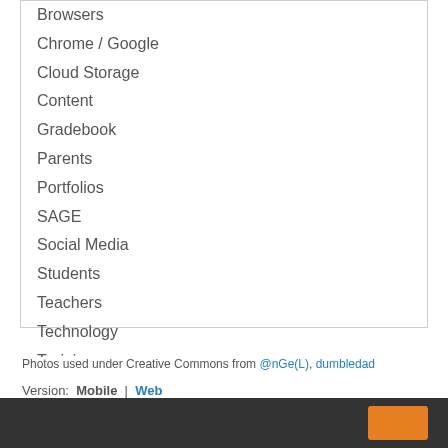Browsers
Chrome / Google
Cloud Storage
Content
Gradebook
Parents
Portfolios
SAGE
Social Media
Students
Teachers
Technology
Trainings
Windows 10
RSS Feed
Photos used under Creative Commons from @nGe(L), dumbledad
Version: Mobile | Web